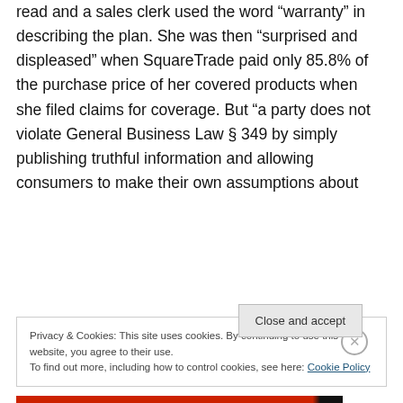read and a sales clerk used the word “warranty” in describing the plan. She was then “surprised and displeased” when SquareTrade paid only 85.8% of the purchase price of her covered products when she filed claims for coverage. But “a party does not violate General Business Law § 349 by simply publishing truthful information and allowing consumers to make their own assumptions about
Privacy & Cookies: This site uses cookies. By continuing to use this website, you agree to their use. To find out more, including how to control cookies, see here: Cookie Policy